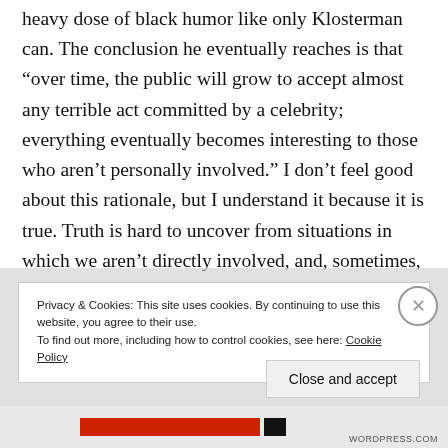heavy dose of black humor like only Klosterman can. The conclusion he eventually reaches is that “over time, the public will grow to accept almost any terrible act committed by a celebrity; everything eventually becomes interesting to those who aren’t personally involved.” I don’t feel good about this rationale, but I understand it because it is true. Truth is hard to uncover from situations in which we aren’t directly involved, and, sometimes, even the ones that we are. It’s unclear what Woody Allen did or did not
Privacy & Cookies: This site uses cookies. By continuing to use this website, you agree to their use.
To find out more, including how to control cookies, see here: Cookie Policy
Close and accept